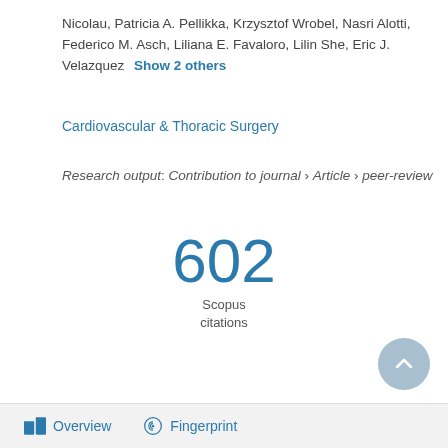Nicolau, Patricia A. Pellikka, Krzysztof Wrobel, Nasri Alotti, Federico M. Asch, Liliana E. Favaloro, Lilin She, Eric J. Velazquez   Show 2 others
Cardiovascular & Thoracic Surgery
Research output: Contribution to journal › Article › peer-review
602
Scopus
citations
[Figure (other): Scroll-to-top button, circular, light blue-grey]
Overview   Fingerprint